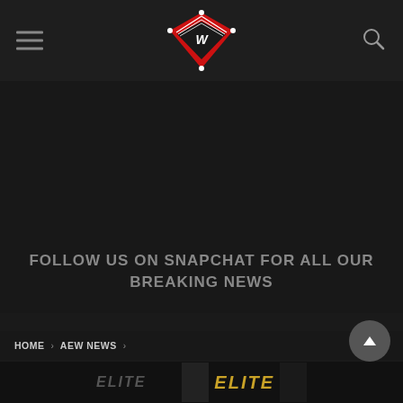[Figure (logo): Wrestling website logo: red boxing ring top-down view with white ropes, dark background]
[Figure (other): Hamburger menu icon (three horizontal lines) on the left of the header]
[Figure (other): Search magnifying glass icon on the right of the header]
FOLLOW US ON SNAPCHAT FOR ALL OUR BREAKING NEWS
HOME > AEW NEWS >
[Figure (other): Dark bottom strip with partial text ELITE visible in gold/yellow italic text, with a person's image partially visible]
[Figure (other): Scroll-to-top button: dark grey circle with white up-arrow triangle]